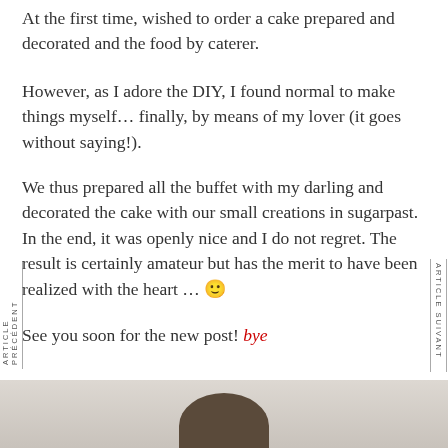At the first time, wished to order a cake prepared and decorated and the food by caterer.
However, as I adore the DIY, I found normal to make things myself… finally, by means of my lover (it goes without saying!).
We thus prepared all the buffet with my darling and decorated the cake with our small creations in sugarpast. In the end, it was openly nice and I do not regret. The result is certainly amateur but has the merit to have been realized with the heart … 🙂
See you soon for the new post! bye
[Figure (photo): Bottom strip showing a partial photo with a dark rounded shape against a light beige/grey background]